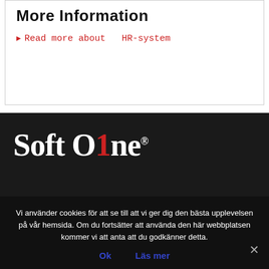More Information
▶ Read more about  HR-system
[Figure (logo): SoftOne logo — white bold serif text on dark background, with the digit '1' rendered in red]
Vi använder cookies för att se till att vi ger dig den bästa upplevelsen på vår hemsida. Om du fortsätter att använda den här webbplatsen kommer vi att anta att du godkänner detta.
Ok    Läs mer